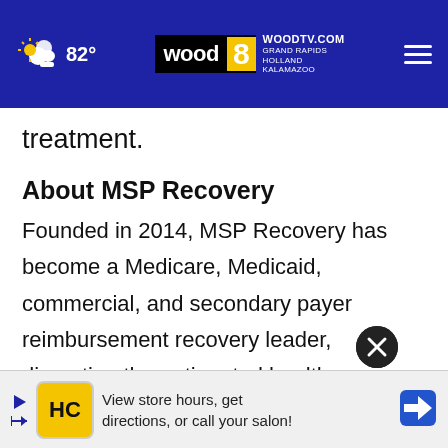82° WOODTV.COM GRAND RAPIDS HOLLAND KALAMAZOO
treatment.
About MSP Recovery
Founded in 2014, MSP Recovery has become a Medicare, Medicaid, commercial, and secondary payer reimbursement recovery leader, disrupting the antiquated healthcare reimbursement system with data-driven solutions to secure recoveries against responsible parties. MSP Recovery provides the healt
[Figure (screenshot): Advertisement banner: HC logo, text 'View store hours, get directions, or call your salon!']
[Figure (other): Close/dismiss button (circular dark button with X)]